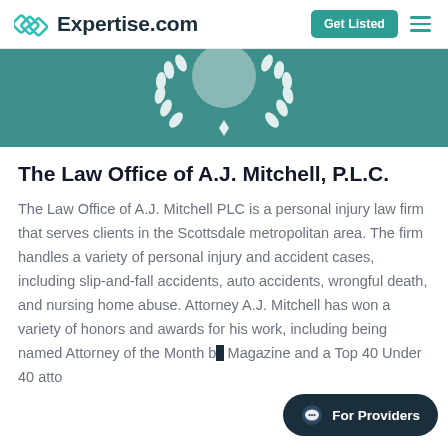Expertise.com
[Figure (illustration): Teal banner with decorative white laurel wreath emblem on a teal/dark teal background]
The Law Office of A.J. Mitchell, P.L.C.
The Law Office of A.J. Mitchell PLC is a personal injury law firm that serves clients in the Scottsdale metropolitan area. The firm handles a variety of personal injury and accident cases, including slip-and-fall accidents, auto accidents, wrongful death, and nursing home abuse. Attorney A.J. Mitchell has won a variety of honors and awards for his work, including being named Attorney of the Month b... Magazine and a Top 40 Under 40 atto...